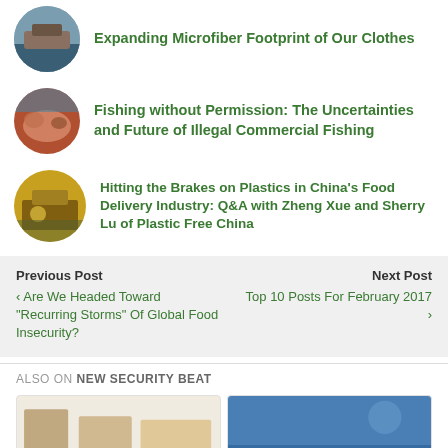Expanding Microfiber Footprint of Our Clothes
Fishing without Permission: The Uncertainties and Future of Illegal Commercial Fishing
Hitting the Brakes on Plastics in China's Food Delivery Industry: Q&A with Zheng Xue and Sherry Lu of Plastic Free China
Previous Post
‹ Are We Headed Toward "Recurring Storms" Of Global Food Insecurity?
Next Post
Top 10 Posts For February 2017 ›
ALSO ON NEW SECURITY BEAT